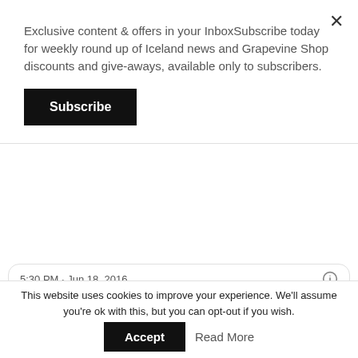Exclusive content & offers in your InboxSubscribe today for weekly round up of Iceland news and Grapevine Shop discounts and give-aways, available only to subscribers.
Subscribe
5:30 PM · Jun 18, 2016
70  Reply  Copy link to Tweet
Read 2 replies
Hannes Halldórsson had another stunning game in goal.
The Reykjavík Grapevine
This website uses cookies to improve your experience. We'll assume you're ok with this, but you can opt-out if you wish.
Accept
Read More